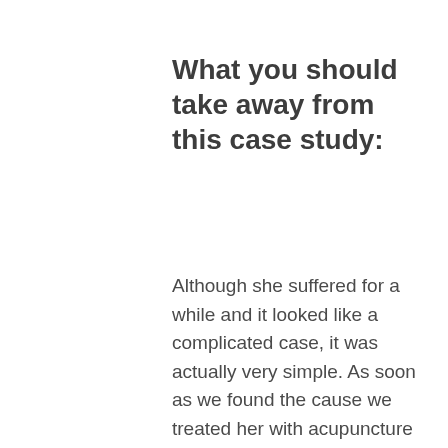What you should take away from this case study:
Although she suffered for a while and it looked like a complicated case, it was actually very simple. As soon as we found the cause we treated her with acupuncture points for regulating and re-balancing her nervous and digestive system, then her bowel movements became normal. TCM and acupuncture has a long history of treating constipation either simple or complicated